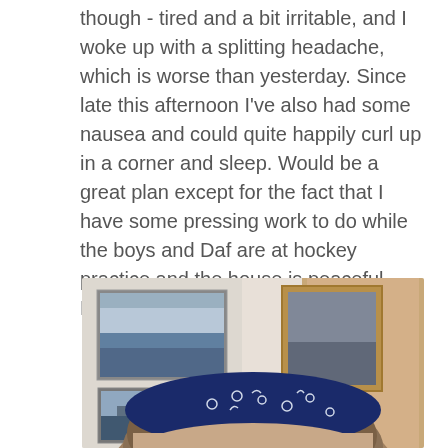though - tired and a bit irritable, and I woke up with a splitting headache, which is worse than yesterday. Since late this afternoon I've also had some nausea and could quite happily curl up in a corner and sleep. Would be a great plan except for the fact that I have some pressing work to do while the boys and Daf are at hockey practice and the house is peaceful. Maybe tomorrow …
[Figure (photo): A person taking a selfie showing the top of their head wearing a dark navy blue bandana/headband with small white circular pattern details. In the background are framed pictures on a wall and what appears to be wooden furniture.]